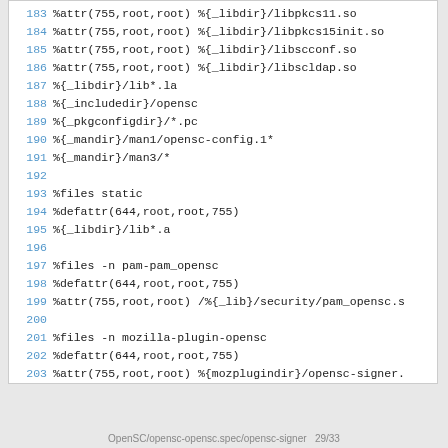183 %attr(755,root,root) %{_libdir}/libpkcs11.so
184 %attr(755,root,root) %{_libdir}/libpkcs15init.so
185 %attr(755,root,root) %{_libdir}/libscconf.so
186 %attr(755,root,root) %{_libdir}/libscldap.so
187 %{_libdir}/lib*.la
188 %{_includedir}/opensc
189 %{_pkgconfigdir}/*.pc
190 %{_mandir}/man1/opensc-config.1*
191 %{_mandir}/man3/*
192
193 %files static
194 %defattr(644,root,root,755)
195 %{_libdir}/lib*.a
196
197 %files -n pam-pam_opensc
198 %defattr(644,root,root,755)
199 %attr(755,root,root) /%{_lib}/security/pam_opensc.s
200
201 %files -n mozilla-plugin-opensc
202 %defattr(644,root,root,755)
203 %attr(755,root,root) %{mozplugindir}/opensc-signer.
OpenSC/opensc-opensc.spec/opensc-signer  29/33